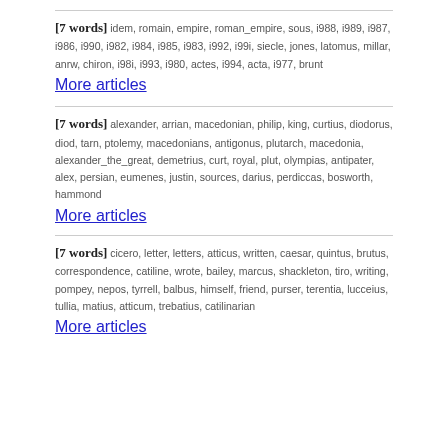[7 words] idem, romain, empire, roman_empire, sous, i988, i989, i987, i986, i990, i982, i984, i985, i983, i992, i99i, siecle, jones, latomus, millar, anrw, chiron, i98i, i993, i980, actes, i994, acta, i977, brunt
More articles
[7 words] alexander, arrian, macedonian, philip, king, curtius, diodorus, diod, tarn, ptolemy, macedonians, antigonus, plutarch, macedonia, alexander_the_great, demetrius, curt, royal, plut, olympias, antipater, alex, persian, eumenes, justin, sources, darius, perdiccas, bosworth, hammond
More articles
[7 words] cicero, letter, letters, atticus, written, caesar, quintus, brutus, correspondence, catiline, wrote, bailey, marcus, shackleton, tiro, writing, pompey, nepos, tyrrell, balbus, himself, friend, purser, terentia, lucceius, tullia, matius, atticum, trebatius, catilinarian
More articles